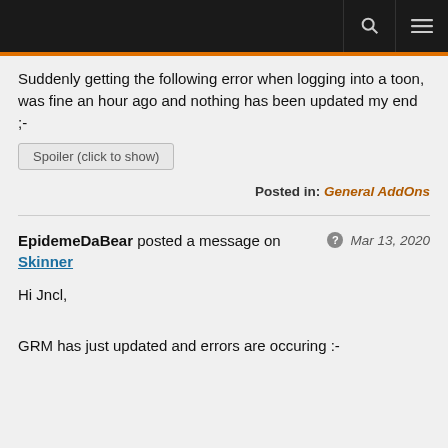Suddenly getting the following error when logging into a toon, was fine an hour ago and nothing has been updated my end ;-
Spoiler (click to show)
Posted in: General AddOns
EpidemeDaBear posted a message on Skinner — Mar 13, 2020
Hi Jncl,
GRM has just updated and errors are occuring :-